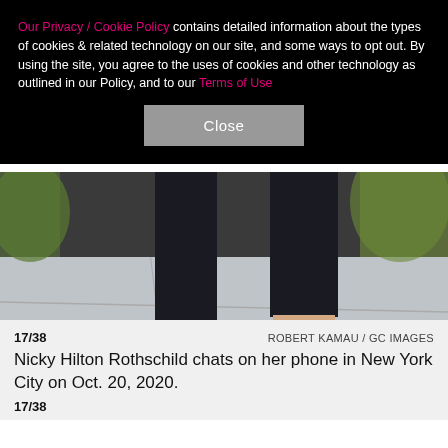Our Privacy / Cookie Policy contains detailed information about the types of cookies & related technology on our site, and some ways to opt out. By using the site, you agree to the uses of cookies and other technology as outlined in our Policy, and to our Terms of Use
[Figure (photo): Close-up photo of a woman's legs from the knees down, wearing black slim trousers and brown/burgundy velvet loafers with a tassel detail, walking on a city sidewalk.]
17/38   ROBERT KAMAU / GC IMAGES
Nicky Hilton Rothschild chats on her phone in New York City on Oct. 20, 2020.
17/38